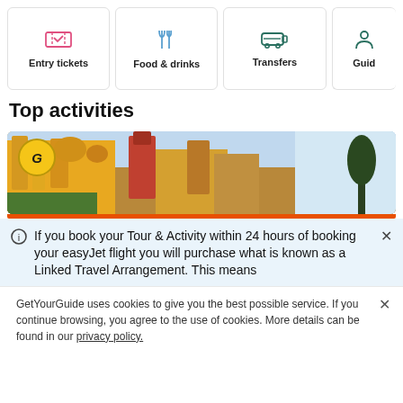[Figure (screenshot): Navigation category cards: Entry tickets (red ticket icon), Food & drinks (blue fork/knife icon), Transfers (teal bus icon), Guided (partially cut off, teal icon)]
Top activities
[Figure (photo): Photo of a colorful castle/palace (Pena Palace, Sintra) with a GetYourGuide G badge in the top-left corner. Orange bar beneath.]
If you book your Tour & Activity within 24 hours of booking your easyJet flight you will purchase what is known as a Linked Travel Arrangement. This means
GetYourGuide uses cookies to give you the best possible service. If you continue browsing, you agree to the use of cookies. More details can be found in our privacy policy.